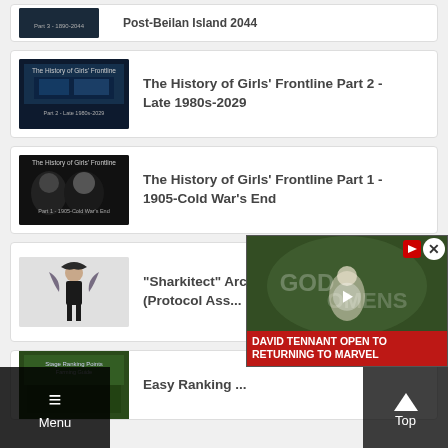[Figure (screenshot): Partial thumbnail for 'Post-Beilan Island 2044' video]
Post-Beilan Island 2044
[Figure (screenshot): Thumbnail for 'The History of Girls' Frontline Part 2 - Late 1980s-2029']
The History of Girls' Frontline Part 2 - Late 1980s-2029
[Figure (screenshot): Thumbnail for 'The History of Girls' Frontline Part 1 - 1905-Cold War's End']
The History of Girls' Frontline Part 1 - 1905-Cold War's End
[Figure (illustration): Character illustration - 'Sharkitect' Architect NVW Model]
"Sharkitect" Architect - NVW Model (Protocol Ass...
[Figure (screenshot): Thumbnail for Easy Ranking Guide]
Easy Ranking ...
[Figure (screenshot): Video overlay - David Tennant Open To Returning To Marvel]
DAVID TENNANT OPEN TO RETURNING TO MARVEL